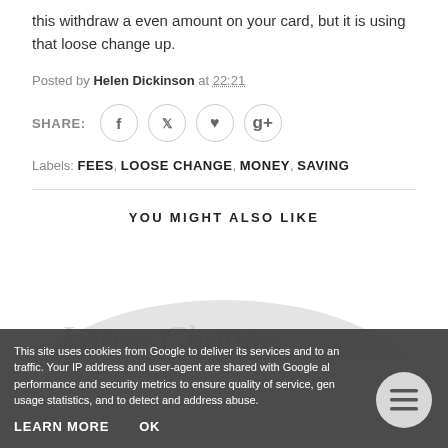this withdraw a even amount on your card, but it is using that loose change up.
Posted by Helen Dickinson at 22:21
SHARE:
Labels: FEES, LOOSE CHANGE, MONEY, SAVING
YOU MIGHT ALSO LIKE
[Figure (illustration): Decorative cursive/script text illustration partially visible at bottom of page]
This site uses cookies from Google to deliver its services and to analyze traffic. Your IP address and user-agent are shared with Google along with performance and security metrics to ensure quality of service, generate usage statistics, and to detect and address abuse.